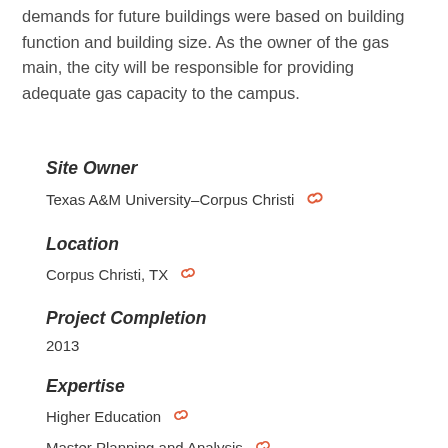demands for future buildings were based on building function and building size. As the owner of the gas main, the city will be responsible for providing adequate gas capacity to the campus.
Site Owner
Texas A&M University-Corpus Christi
Location
Corpus Christi, TX
Project Completion
2013
Expertise
Higher Education
Master Planning and Analysis